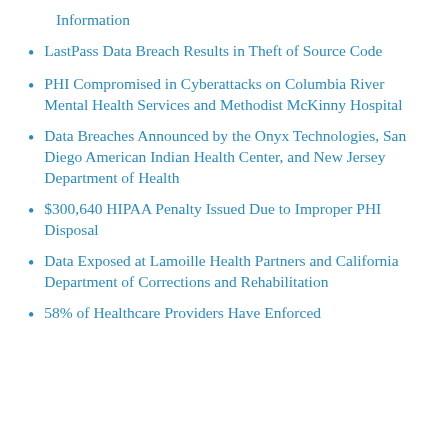Information
LastPass Data Breach Results in Theft of Source Code
PHI Compromised in Cyberattacks on Columbia River Mental Health Services and Methodist McKinny Hospital
Data Breaches Announced by the Onyx Technologies, San Diego American Indian Health Center, and New Jersey Department of Health
$300,640 HIPAA Penalty Issued Due to Improper PHI Disposal
Data Exposed at Lamoille Health Partners and California Department of Corrections and Rehabilitation
58% of Healthcare Providers Have Enforced